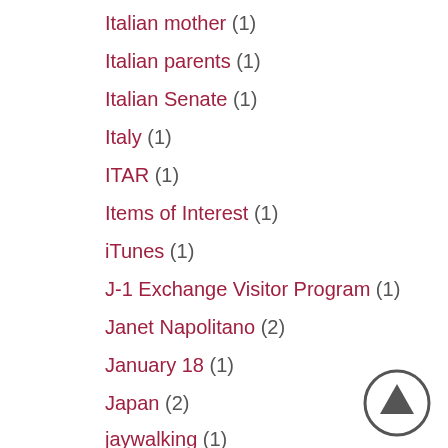Italian mother (1)
Italian parents (1)
Italian Senate (1)
Italy (1)
ITAR (1)
Items of Interest (1)
iTunes (1)
J-1 Exchange Visitor Program (1)
Janet Napolitano (2)
January 18 (1)
Japan (2)
jaywalking (1)
Jerry Orr (1)
[Figure (illustration): Up arrow navigation button — dark grey circle with upward-pointing arrow]